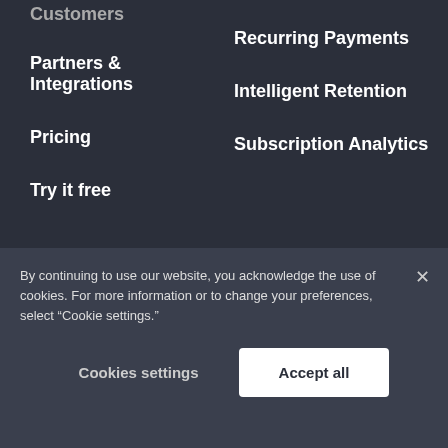Customers
Recurring Payments
Partners & Integrations
Intelligent Retention
Pricing
Subscription Analytics
Try it free
INDUSTRIES
RESOURCES
By continuing to use our website, you acknowledge the use of cookies. For more information or to change your preferences, select “Cookie settings.”
Cookies settings
Accept all